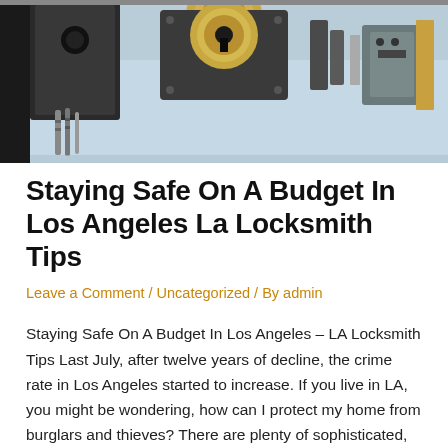[Figure (photo): Close-up photograph of locksmith tools and lock mechanisms including keys, lock cylinders, and metal hardware on a light blue background]
Staying Safe On A Budget In Los Angeles La Locksmith Tips
Leave a Comment / Uncategorized / By admin
Staying Safe On A Budget In Los Angeles – LA Locksmith Tips Last July, after twelve years of decline, the crime rate in Los Angeles started to increase. If you live in LA, you might be wondering, how can I protect my home from burglars and thieves? There are plenty of sophisticated, high tech